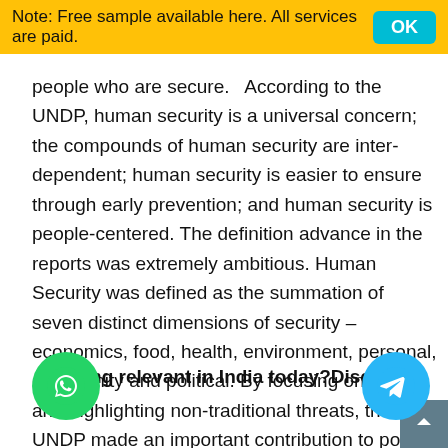Note: Free sample available here. All services are paid.   OK
people who are secure.   According to the UNDP, human security is a universal concern; the compounds of human security are inter-dependent; human security is easier to ensure through early prevention; and human security is people-centered. The definition advance in the reports was extremely ambitious. Human Security was defined as the summation of seven distinct dimensions of security – economics, food, health, environment, personal, community and political. By focusing on people and highlighting non-traditional threats, the UNDP made an important contribution to post -Cold War thinking about security.
…anning relevant in India today?Discuss